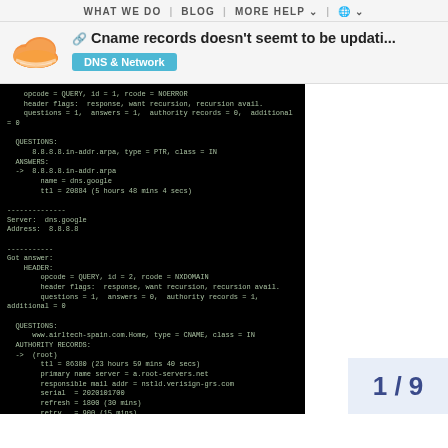WHAT WE DO | BLOG | MORE HELP | 🌐
Cname records doesn't seemt to be updati...
DNS & Network
[Figure (screenshot): Terminal/command-line output showing DNS query results including HEADER, QUESTIONS, ANSWERS, and AUTHORITY RECORDS sections for 8.8.8.8.in-addr.arpa and www.airltech-spain.com]
1 / 9